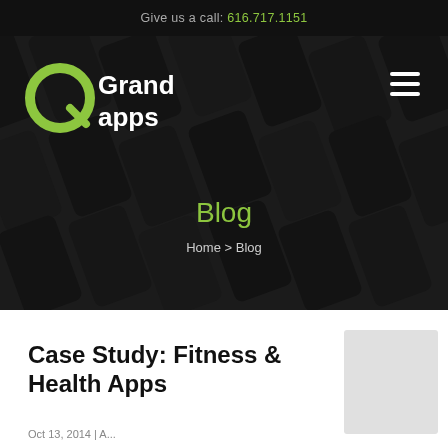Give us a call: 616.717.1151
[Figure (screenshot): Grand Apps logo with green circular icon and white text on dark background with smartphone tile pattern, showing navigation with hamburger menu]
Blog
Home > Blog
Case Study: Fitness & Health Apps
Oct 13, 2014 | A...